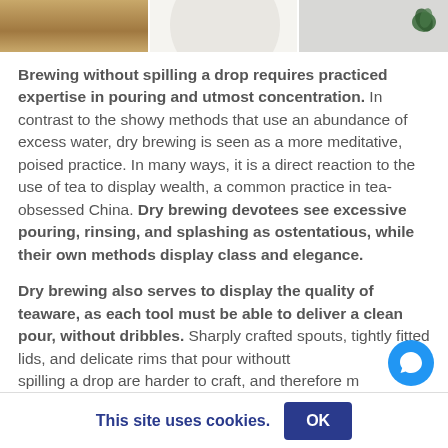[Figure (photo): Three photos of tea ceremony items: wooden tray, white bowl/cup, and a bowl with tea leaves]
Brewing without spilling a drop requires practiced expertise in pouring and utmost concentration. In contrast to the showy methods that use an abundance of excess water, dry brewing is seen as a more meditative, poised practice. In many ways, it is a direct reaction to the use of tea to display wealth, a common practice in tea-obsessed China. Dry brewing devotees see excessive pouring, rinsing, and splashing as ostentatious, while their own methods display class and elegance.
Dry brewing also serves to display the quality of teaware, as each tool must be able to deliver a clean pour, without dribbles. Sharply crafted spouts, tightly fitted lids, and delicate rims that pour without spilling a drop are harder to craft, and therefore m
This site uses cookies.